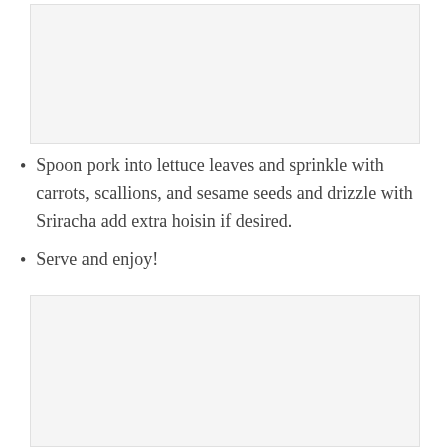[Figure (photo): Image placeholder at top of page]
Spoon pork into lettuce leaves and sprinkle with carrots, scallions, and sesame seeds and drizzle with Sriracha add extra hoisin if desired.
Serve and enjoy!
[Figure (photo): Image placeholder at bottom of page]